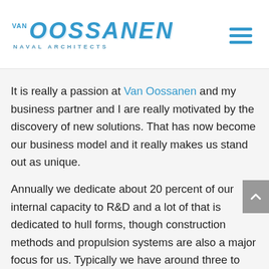Van Oossanen Naval Architects
It is really a passion at Van Oossanen and my business partner and I are really motivated by the discovery of new solutions. That has now become our business model and it really makes us stand out as unique.
Annually we dedicate about 20 percent of our internal capacity to R&D and a lot of that is dedicated to hull forms, though construction methods and propulsion systems are also a major focus for us. Typically we have around three to four big R&D projects per year and we allocate our work force to those projects depending on their